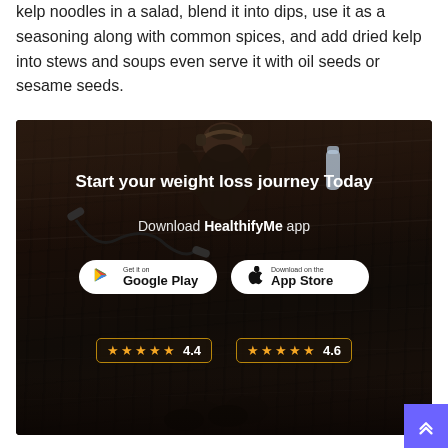kelp noodles in a salad, blend it into dips, use it as a seasoning along with common spices, and add dried kelp into stews and soups even serve it with oil seeds or sesame seeds.
[Figure (infographic): App advertisement banner on dark wood background showing a person lying on the floor. Text reads 'Start your weight loss journey Today — Download HealthifyMe app' with Google Play (4.4 stars) and App Store (4.6 stars) download buttons.]